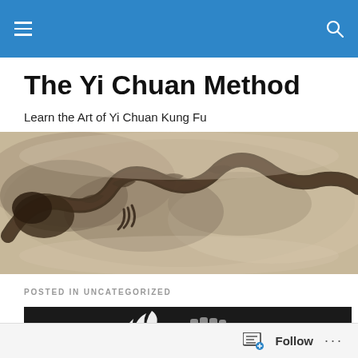The Yi Chuan Method — site navigation bar
The Yi Chuan Method
Learn the Art of Yi Chuan Kung Fu
[Figure (photo): Chinese ink painting of a dragon in sepia/brown tones on a banner background]
POSTED IN UNCATEGORIZED
[Figure (logo): Black background banner with a stylized white flame and an orange/grey fist logo]
Follow ...